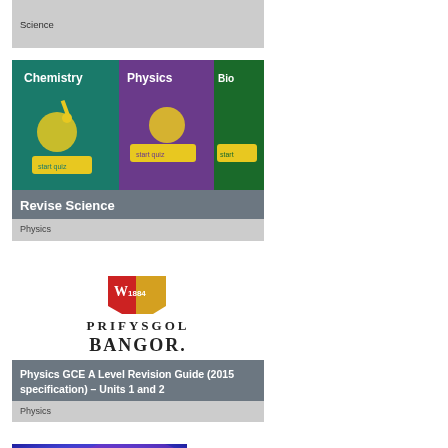[Figure (screenshot): Partial card showing 'Science' category label on gray background, top of page cropped]
[Figure (screenshot): Card showing Revise Science app with Chemistry, Physics, Biology quiz panels with yellow icons on colored backgrounds. Label: 'Revise Science'. Sub-label: 'Physics']
[Figure (screenshot): Card showing Prifysgol Bangor university logo with crest and text 'PRIFYSGOL BANGOR'. Label: 'Physics GCE A Level Revision Guide (2015 specification) – Units 1 and 2'. Sub-label: 'Physics']
[Figure (photo): Partial photo at bottom showing colorful abstract swirl design in pink/purple/blue tones]